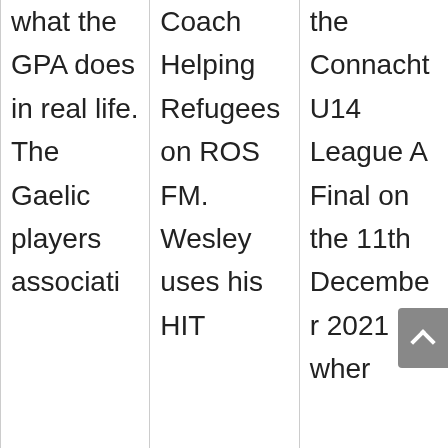what the GPA does in real life. The Gaelic players associati
Coach Helping Refugees on ROS FM. Wesley uses his HIT
the Connacht U14 League A Final on the 11th December 2021 wher